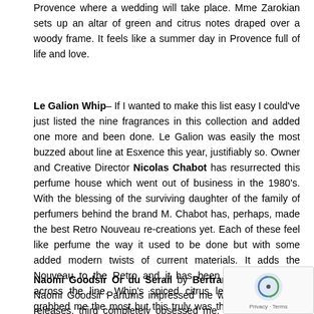Provence where a wedding will take place. Mme Zarokian sets up an altar of green and citrus notes draped over a woody frame. It feels like a summer day in Provence full of life and love.
Le Galion Whip– If I wanted to make this list easy I could've just listed the nine fragrances in this collection and added one more and been done. Le Galion was easily the most buzzed about line at Esxence this year, justifiably so. Owner and Creative Director Nicolas Chabot has resurrected this perfume house which went out of business in the 1980's. With the blessing of the surviving daughter of the family of perfumers behind the brand M. Chabot has, perhaps, made the best Retro Nouveau re-creations yet. Each of these feel like perfume the way it used to be done but with some added modern twists of current materials. It adds the Nouveau to the Retro and it has been done exquisitely across the line. Whip's spiced citrus leather concoction grabbed me the most but this truly was the booth I walked away from with the biggest smile on my face.
Naomi Goodsir Or du Serail by Bertrand Duchaufour– Naomi Goodsir Parfums impressed me with their first two releases, third completely obsessed me. Ms Goodsir was the very first visited and the strip of Or du Serail I walked around with all sniffed over and over. M. Duchaufour, under Ms. Goodsir's and partner